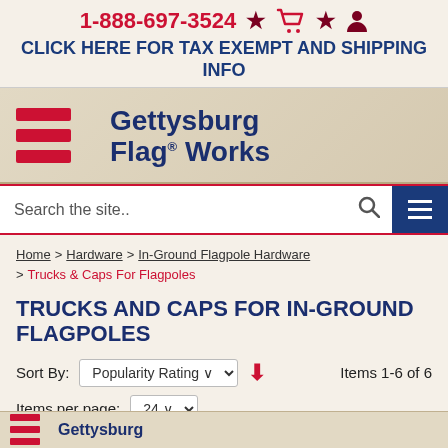1-888-697-3524 ★ 🛒 ★ 👤
CLICK HERE FOR TAX EXEMPT AND SHIPPING INFO
[Figure (logo): Gettysburg Flag Works logo with red flag stripes graphic and bold navy text]
Search the site..
Home > Hardware > In-Ground Flagpole Hardware > Trucks & Caps For Flagpoles
TRUCKS AND CAPS FOR IN-GROUND FLAGPOLES
Sort By: Popularity Rating ▼  Items 1-6 of 6
Items per page: 24